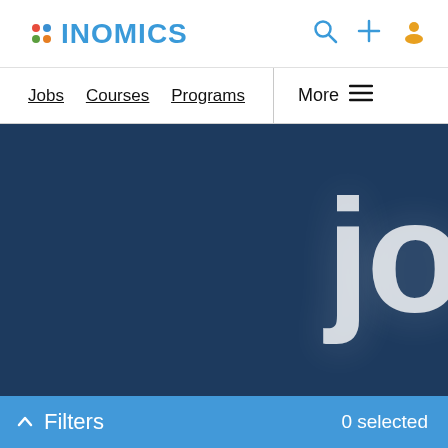INOMICS
Jobs   Courses   Programs   More
[Figure (screenshot): Dark navy blue hero banner with large white partially-visible text 'jo' on the right side]
Filters   0 selected